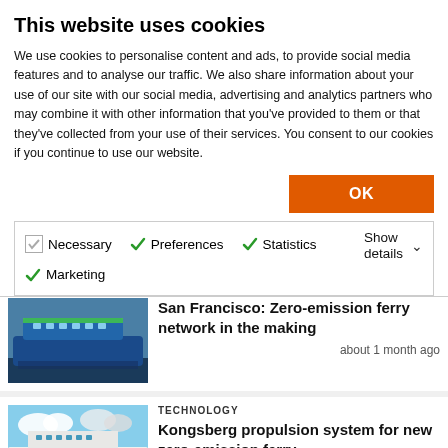This website uses cookies
We use cookies to personalise content and ads, to provide social media features and to analyse our traffic. We also share information about your use of our site with our social media, advertising and analytics partners who may combine it with other information that you've provided to them or that they've collected from your use of their services. You consent to our cookies if you continue to use our website.
OK
Necessary  Preferences  Statistics  Marketing  Show details
San Francisco: Zero-emission ferry network in the making
about 1 month ago
TECHNOLOGY
Kongsberg propulsion system for new zero-emission ferry